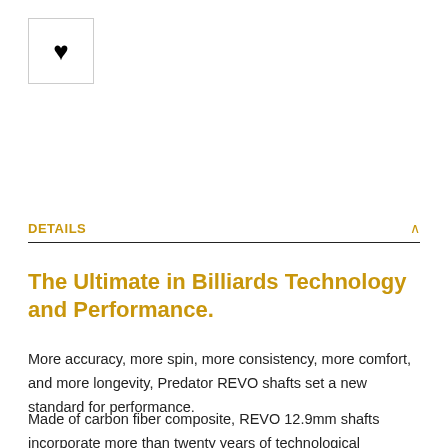[Figure (illustration): Heart icon inside a square bordered box, used as a favorite/wishlist button]
DETAILS
The Ultimate in Billiards Technology and Performance.
More accuracy, more spin, more consistency, more comfort, and more longevity, Predator REVO shafts set a new standard for performance.
Made of carbon fiber composite, REVO 12.9mm shafts incorporate more than twenty years of technological innovation and testing. REVO shafts feature the lightest front end mass, the lowest rate of rise taper, greatest radial